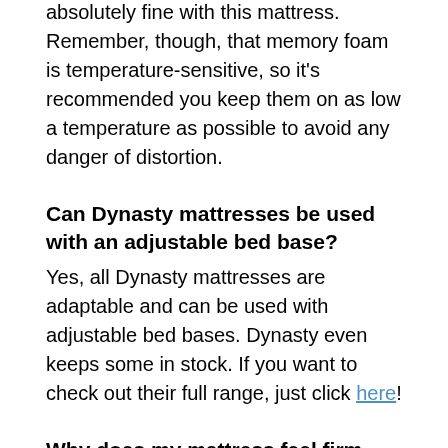absolutely fine with this mattress. Remember, though, that memory foam is temperature-sensitive, so it's recommended you keep them on as low a temperature as possible to avoid any danger of distortion.
Can Dynasty mattresses be used with an adjustable bed base?
Yes, all Dynasty mattresses are adaptable and can be used with adjustable bed bases. Dynasty even keeps some in stock. If you want to check out their full range, just click here!
Why does my mattress feel firm some nights but soft on others?